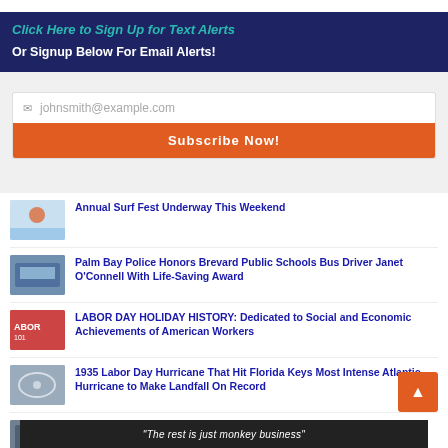Click Here to Sign Up for Text Alerts
Or Signup Below For Email Alerts!
johnsmith@example.com
Subscribe Now!
Annual Surf Fest Underway This Weekend
Palm Bay Police Honors Brevard Public Schools Bus Driver Janet O'Connell With Life-Saving Award
LABOR DAY HOLIDAY HISTORY: Dedicated to Social and Economic Achievements of American Workers
1935 Labor Day Hurricane That Hit Florida Keys Most Intense Atlantic Hurricane to Make Landfall On Record
WATCH: Florida Fish and Wildlife Remind Boaters to Stay Safe on the Water During Labor Day Weekend
“The rest is just monkey business”